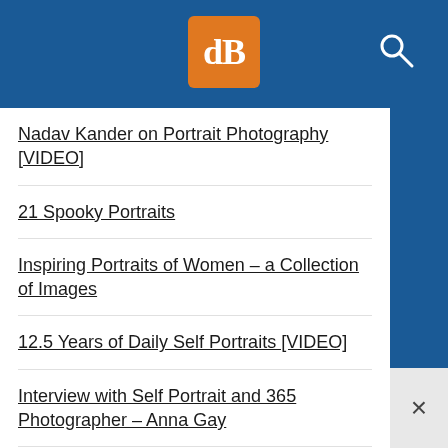dPS logo and search icon
Nadav Kander on Portrait Photography [VIDEO]
21 Spooky Portraits
Inspiring Portraits of Women – a Collection of Images
12.5 Years of Daily Self Portraits [VIDEO]
Interview with Self Portrait and 365 Photographer – Anna Gay
Triptych Portrait Series
8 Striking Portraits from Photograph Einar